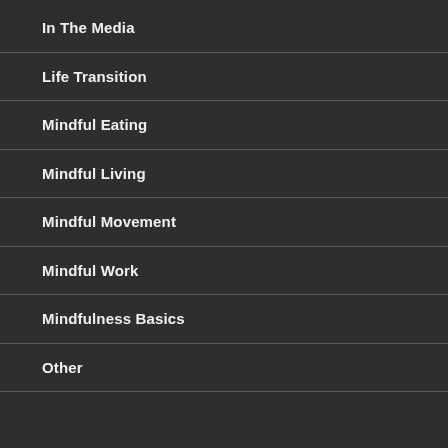In The Media
Life Transition
Mindful Eating
Mindful Living
Mindful Movement
Mindful Work
Mindfulness Basics
Other